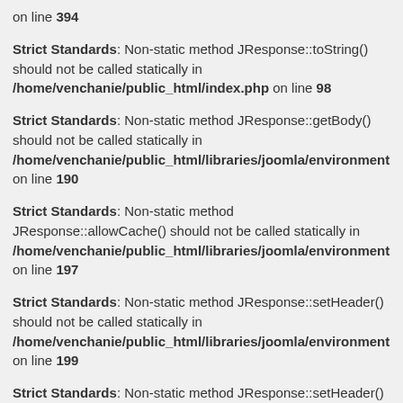on line 394
Strict Standards: Non-static method JResponse::toString() should not be called statically in /home/venchanie/public_html/index.php on line 98
Strict Standards: Non-static method JResponse::getBody() should not be called statically in /home/venchanie/public_html/libraries/joomla/environment on line 190
Strict Standards: Non-static method JResponse::allowCache() should not be called statically in /home/venchanie/public_html/libraries/joomla/environment on line 197
Strict Standards: Non-static method JResponse::setHeader() should not be called statically in /home/venchanie/public_html/libraries/joomla/environment on line 199
Strict Standards: Non-static method JResponse::setHeader()